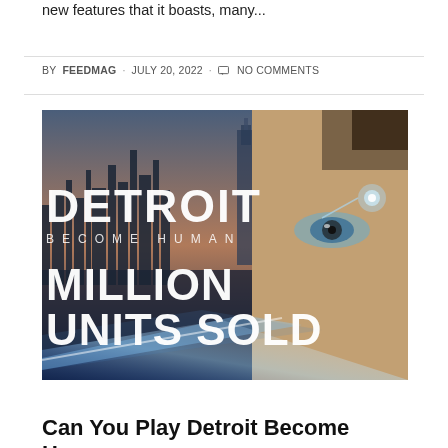new features that it boasts, many...
BY FEEDMAG · JULY 20, 2022 · NO COMMENTS
[Figure (photo): Detroit: Become Human game promotional image showing the game logo text 'DETROIT BECOME HUMAN' and 'MILLION UNITS SOLD' overlaid on a half-face of a female android character with glowing blue eye/temple implant, set against a futuristic city skyline background.]
GAME
Can You Play Detroit Become Human